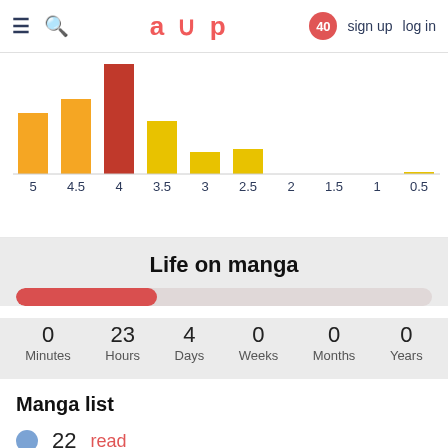≡  🔍   aup   40   sign up   log in
[Figure (histogram): Score distribution histogram]
Life on manga
0 Minutes   23 Hours   4 Days   0 Weeks   0 Months   0 Years
Manga list
22   read